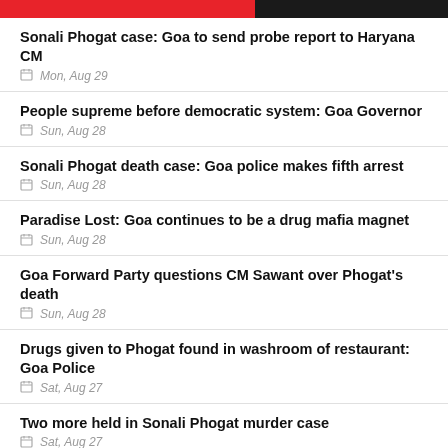Sonali Phogat case: Goa to send probe report to Haryana CM | Mon, Aug 29
People supreme before democratic system: Goa Governor | Sun, Aug 28
Sonali Phogat death case: Goa police makes fifth arrest | Sun, Aug 28
Paradise Lost: Goa continues to be a drug mafia magnet | Sun, Aug 28
Goa Forward Party questions CM Sawant over Phogat's death | Sun, Aug 28
Drugs given to Phogat found in washroom of restaurant: Goa Police | Sat, Aug 27
Two more held in Sonali Phogat murder case | Sat, Aug 27
Phogat case: 10-day police custody granted to 2 accused | Sat, Aug 27